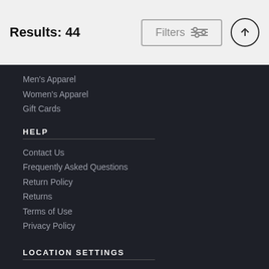Results: 44
Men's Apparel
Women's Apparel
Gift Cards
HELP
Contact Us
Frequently Asked Questions
Return Policy
Returns
Terms of Use
Privacy Policy
LOCATION SETTINGS
Ann Arbor, MI (United States)
Currency: USD ($)
Units: Inches
STAY CONNECTED